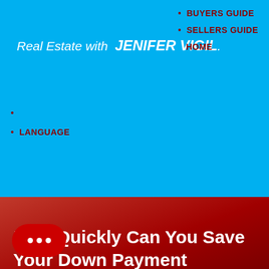Real Estate with JENIFER VIGIL
BUYERS GUIDE
SELLERS GUIDE
HOME
LANGUAGE
How Quickly Can You Save Your Down Payment
Dated: May 3 2019    Views: 188
Don't forget to ask me about my First Time Home Buyer o's 1st HOPP. I could help you keep your savings and buy sooner!!
[Figure (other): Red circular chat button with three white dots indicating a messaging/chat widget]